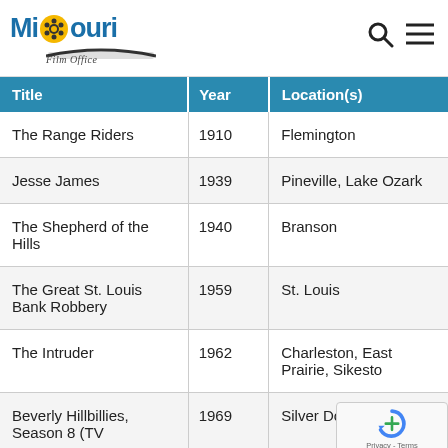[Figure (logo): Missouri Film Office logo with film reel icon, blue text reading MISSOURI and italic text Film Office]
| Title | Year | Location(s) |
| --- | --- | --- |
| The Range Riders | 1910 | Flemington |
| Jesse James | 1939 | Pineville, Lake Ozark |
| The Shepherd of the Hills | 1940 | Branson |
| The Great St. Louis Bank Robbery | 1959 | St. Louis |
| The Intruder | 1962 | Charleston, East Prairie, Sikesto... |
| Beverly Hillbillies, Season 8 (TV | 1969 | Silver Dollar City |